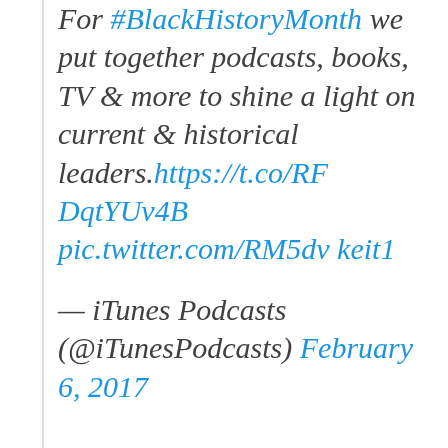For #BlackHistoryMonth we put together podcasts, books, TV & more to shine a light on current & historical leaders. https://t.co/RFDqtYUv4B pic.twitter.com/RM5dvkeit1
— iTunes Podcasts (@iTunesPodcasts) February 6, 2017